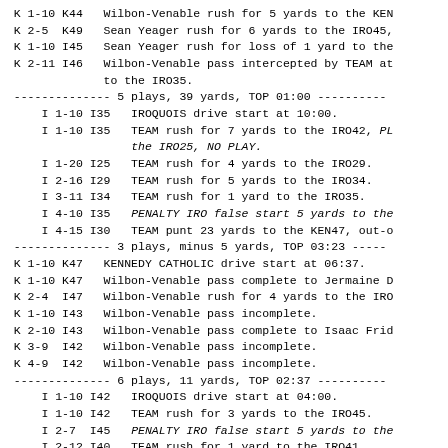K 1-10 K44   Wilbon-Venable rush for 5 yards to the KEN
K 2-5  K49   Sean Yeager rush for 6 yards to the IRO45,
K 1-10 I45   Sean Yeager rush for loss of 1 yard to the
K 2-11 I46   Wilbon-Venable pass intercepted by TEAM at
             to the IRO35.
-------------- 5 plays, 39 yards, TOP 01:00 ----------
I 1-10 I35   IROQUOIS drive start at 10:00.
I 1-10 I35   TEAM rush for 7 yards to the IRO42, PL
                 the IRO25, NO PLAY.
I 1-20 I25   TEAM rush for 4 yards to the IRO29.
I 2-16 I29   TEAM rush for 5 yards to the IRO34.
I 3-11 I34   TEAM rush for 1 yard to the IRO35.
I 4-10 I35   PENALTY IRO false start 5 yards to the
I 4-15 I30   TEAM punt 23 yards to the KEN47, out-o
-------------- 3 plays, minus 5 yards, TOP 03:23 -----
K 1-10 K47   KENNEDY CATHOLIC drive start at 06:37.
K 1-10 K47   Wilbon-Venable pass complete to Jermaine D
K 2-4  I47   Wilbon-Venable rush for 4 yards to the IRO
K 1-10 I43   Wilbon-Venable pass incomplete.
K 2-10 I43   Wilbon-Venable pass complete to Isaac Frid
K 3-9  I42   Wilbon-Venable pass incomplete.
K 4-9  I42   Wilbon-Venable pass incomplete.
-------------- 6 plays, 11 yards, TOP 02:37 ----------
I 1-10 I42   IROQUOIS drive start at 04:00.
I 1-10 I42   TEAM rush for 3 yards to the IRO45.
I 2-7  I45   PENALTY IRO false start 5 yards to the
I 2-12 I40   TEAM rush for 1 yard to the IRO41.